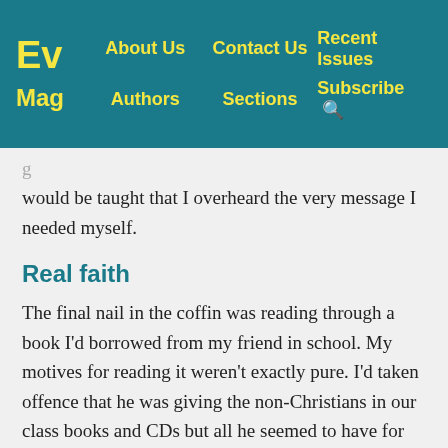Ev Mag | About Us | Contact Us | Recent Issues | Authors | Sections | Subscribe
would be taught that I overheard the very message I needed myself.
Real faith
The final nail in the coffin was reading through a book I'd borrowed from my friend in school. My motives for reading it weren't exactly pure. I'd taken offence that he was giving the non-Christians in our class books and CDs but all he seemed to have for me was an encouragement to read my Bible and pray. After much complaining he decided to lend me a book he was half way through to encourage his own faith.